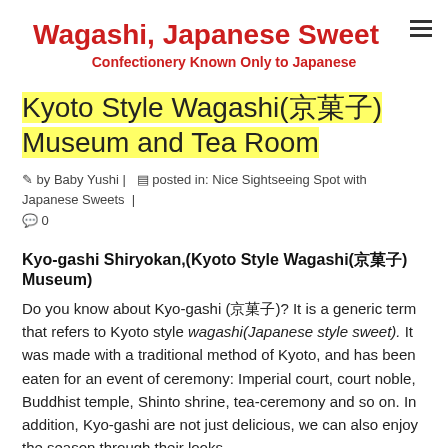Wagashi, Japanese Sweet
Confectionery Known Only to Japanese
Kyoto Style Wagashi(京菓子) Museum and Tea Room
by Baby Yushi | posted in: Nice Sightseeing Spot with Japanese Sweets | 0
Kyo-gashi Shiryokan,(Kyoto Style Wagashi(京菓子) Museum)
Do you know about Kyo-gashi (京菓子)? It is a generic term that refers to Kyoto style wagashi(Japanese style sweet). It was made with a traditional method of Kyoto, and has been eaten for an event of ceremony: Imperial court, court noble, Buddhist temple, Shinto shrine, tea-ceremony and so on. In addition, Kyo-gashi are not just delicious, we can also enjoy the season through their looks.
Kyoto is blessed with historical, cultural heritage buildings